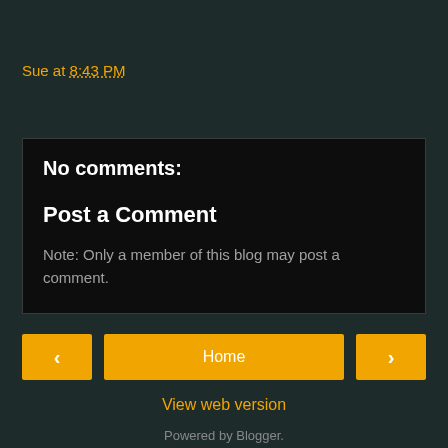Sue at 8:43 PM
Share
No comments:
Post a Comment
Note: Only a member of this blog may post a comment.
< Home >
View web version
Powered by Blogger.